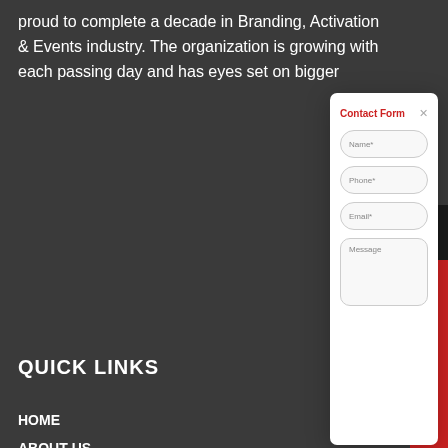proud to complete a decade in Branding, Activation & Events industry. The organization is growing with each passing day and has eyes set on bigger
QUICK LINKS
HOME
ABOUT US
OUR SERVICES
CLIENTS
CONTACT US
GALLERY
SERVICES IN EV...AGEMENT
[Figure (screenshot): Contact Form modal dialog with fields: Name*, Phone*, Email*, Message and a close button (×). Title 'Contact Form' in red.]